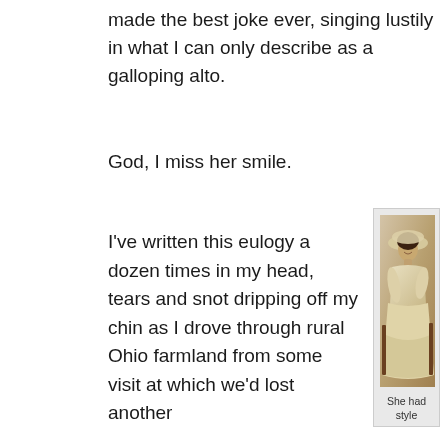made the best joke ever, singing lustily in what I can only describe as a galloping alto.
God, I miss her smile.
I've written this eulogy a dozen times in my head, tears and snot dripping off my chin as I drove through rural Ohio farmland from some visit at which we'd lost another
[Figure (photo): Vintage sepia-toned photograph of a young woman seated, wearing a white dress and wide-brimmed white hat, smiling at the camera. Old formal portrait style.]
She had style